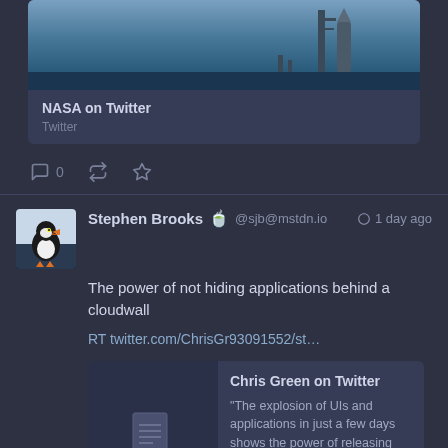[Figure (screenshot): Partial NASA tweet card showing a rocket on a launch pad against a blue sky background]
NASA on Twitter
Twitter
0
Stephen Brooks 🍵 @sjb@mstdn.io  🌐 1 day ago
The power of not hiding applications behind a cloudwall
RT twitter.com/ChrisGr93091552/st…
Chris Green on Twitter
"The explosion of UIs and applications in just a few days shows the power of releasing something people can actually use for their own purposes vs keeping the code…